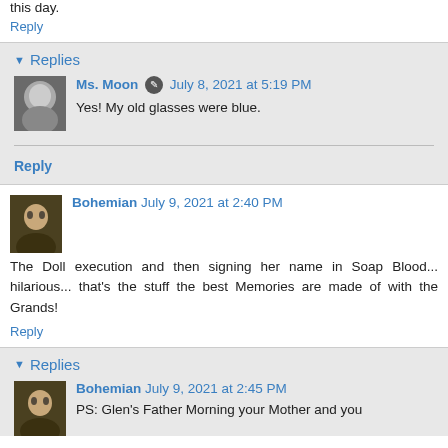this day.
Reply
Replies
Ms. Moon  July 8, 2021 at 5:19 PM
Yes! My old glasses were blue.
Reply
Bohemian  July 9, 2021 at 2:40 PM
The Doll execution and then signing her name in Soap Blood... hilarious... that's the stuff the best Memories are made of with the Grands!
Reply
Replies
Bohemian  July 9, 2021 at 2:45 PM
PS: Glen's Father Morning your Mother and you